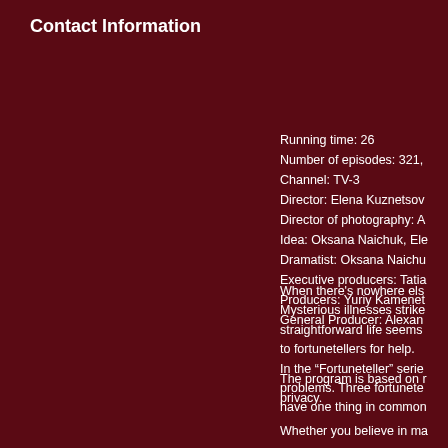Contact Information
Running time: 26
Number of episodes: 321,
Channel: TV-3
Director: Elena Kuznetsov
Director of photography: A
Idea: Oksana Naichuk, Ele
Dramatist: Oksana Naichu
Executive producers: Tatia
Producers: Yuriy Kamenet
General Producer: Alexan
When there's nowhere els
Mysterious illnesses strike
straightforward life seems
to fortunetellers for help.
In the “Fortunete ller” serie
problems. Three fortunete
have one thing in common
The program is based on r
privacy.
Whether you believe in ma